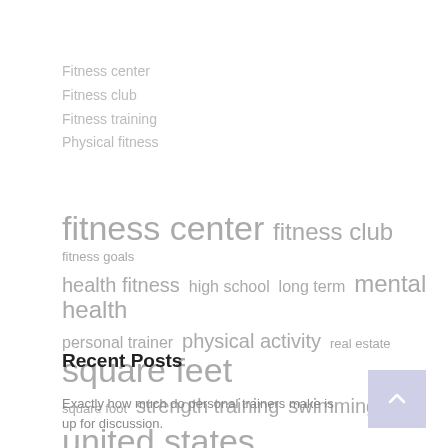Fitness center
Fitness club
Fitness training
Physical fitness
[Figure (infographic): Tag cloud with fitness-related terms in varying sizes: fitness center (largest), fitness club, fitness goals, health fitness, high school, long term, mental health, personal trainer, physical activity, real estate, square feet (large), square foot, strength training, swimming pool, united states (large)]
Recent Posts
Exactly how much do personal trainers make is up for discussion.